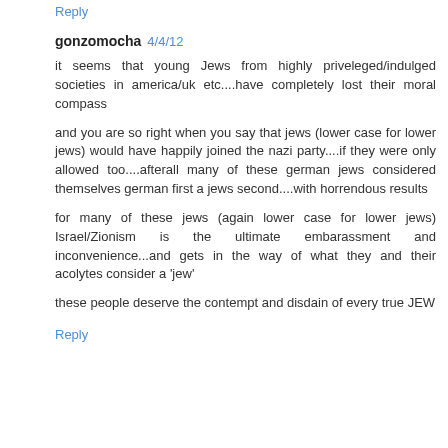Reply
gonzomocha 4/4/12
it seems that young Jews from highly priveleged/indulged societies in america/uk etc....have completely lost their moral compass
and you are so right when you say that jews (lower case for lower jews) would have happily joined the nazi party....if they were only allowed too....afterall many of these german jews considered themselves german first a jews second....with horrendous results
for many of these jews (again lower case for lower jews) Israel/Zionism is the ultimate embarassment and inconvenience...and gets in the way of what they and their acolytes consider a 'jew'
these people deserve the contempt and disdain of every true JEW
Reply